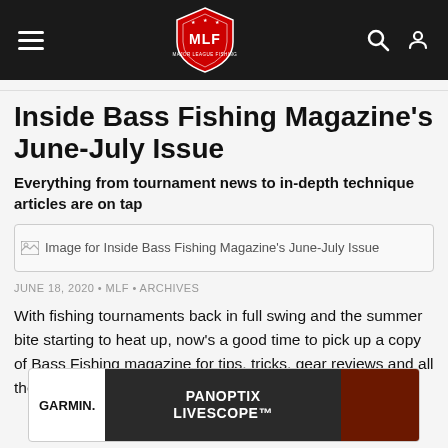MLF Major League Fishing navigation bar
Inside Bass Fishing Magazine's June-July Issue
Everything from tournament news to in-depth technique articles are on tap
[Figure (photo): Image for Inside Bass Fishing Magazine's June-July Issue]
JUNE 18, 2020 • MLF • ARCHIVES
With fishing tournaments back in full swing and the summer bite starting to heat up, now's a good time to pick up a copy of Bass Fishing magazine for tips, tricks, gear reviews and all the
[Figure (illustration): Garmin Panoptix Livescope advertisement banner]